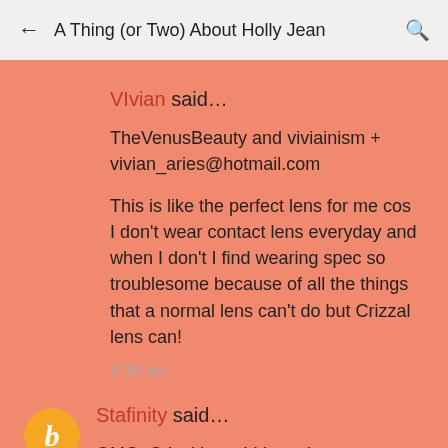← A Thing (or Two) About Holly Jean 🔍
VIvian said…
TheVenusBeauty and viviainism + vivian_aries@hotmail.com

This is like the perfect lens for me cos I don't wear contact lens everyday and when I don't I find wearing spec so troublesome because of all the things that a normal lens can't do but Crizzal lens can!

8:38 am
Stafinity said…
OMG, Crizal lense! I have been procrastinating if I should get it since FOREVER. Haha

Youtube Id: Mayviss